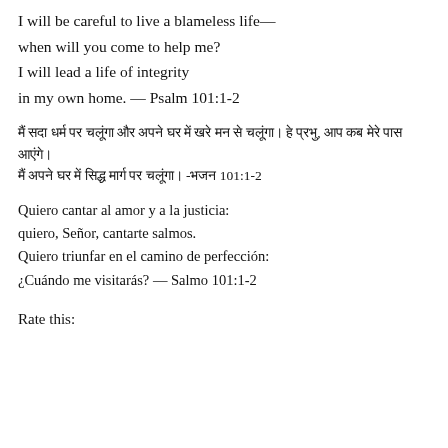I will be careful to live a blameless life—
when will you come to help me?
I will lead a life of integrity
in my own home. — Psalm 101:1-2
मैं सदा धर्म पर चलूंगा और अपने घर में खरे मन से चलूंगा। हे प्रभु, आप कब मेरे पास आएंगे। मैं अपने घर में सिद्ध मार्ग पर चलूंगा। -भजन 101:1-2
Quiero cantar al amor y a la justicia:
quiero, Señor, cantarte salmos.
Quiero triunfar en el camino de perfección:
¿Cuándo me visitarás? — Salmo 101:1-2
Rate this: